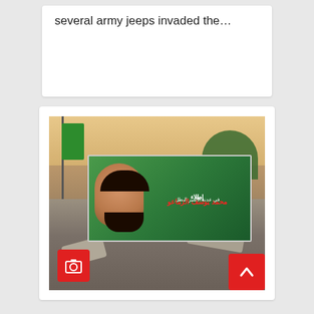several army jeeps invaded the…
[Figure (photo): A memorial banner or poster of a man placed amid rubble and debris. The banner shows a portrait of a bearded man wearing a black shirt, with Arabic text and red lettering. A green flag is visible on the left side, and trees are in the background. A red camera icon button is in the lower left of the image, and a red up-arrow button is in the lower right corner.]